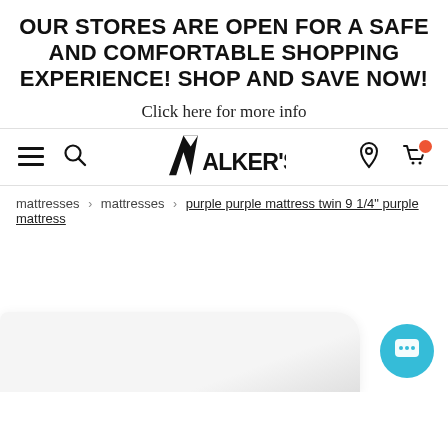OUR STORES ARE OPEN FOR A SAFE AND COMFORTABLE SHOPPING EXPERIENCE! SHOP AND SAVE NOW!
Click here for more info
[Figure (logo): Walker's mattress store logo with stylized W and text]
mattresses > mattresses > purple purple mattress twin 9 1/4" purple mattress